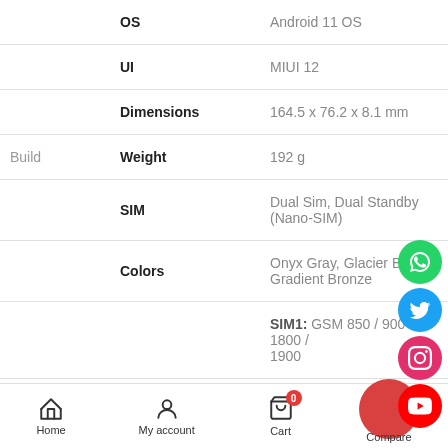| Category | Spec | Value |
| --- | --- | --- |
|  | OS | Android 11 OS |
|  | UI | MIUI 12 |
|  | Dimensions | 164.5 x 76.2 x 8.1 mm |
| Build | Weight | 192 g |
|  | SIM | Dual Sim, Dual Standby (Nano-SIM) |
|  | Colors | Onyx Gray, Glacier Blue, Gradient Bronze |
|  | SIM1: | GSM 850 / 900 / 1800 / 1900 |
[Figure (infographic): Social media share icons: WhatsApp (green), Twitter (blue), Instagram (pink), YouTube (red)]
Home   My account   Cart (0)   Compare